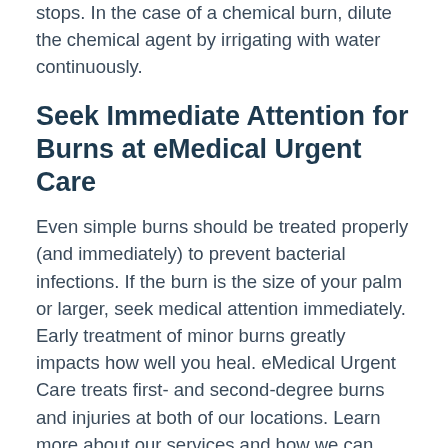stops. In the case of a chemical burn, dilute the chemical agent by irrigating with water continuously.
Seek Immediate Attention for Burns at eMedical Urgent Care
Even simple burns should be treated properly (and immediately) to prevent bacterial infections. If the burn is the size of your palm or larger, seek medical attention immediately. Early treatment of minor burns greatly impacts how well you heal. eMedical Urgent Care treats first- and second-degree burns and injuries at both of our locations. Learn more about our services and how we can treat you by calling our location in Berkeley Heights, New Jersey